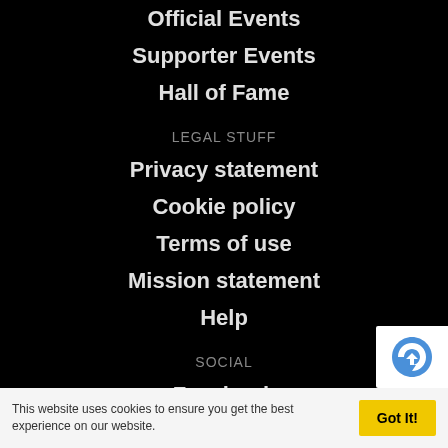Official Events
Supporter Events
Hall of Fame
LEGAL STUFF
Privacy statement
Cookie policy
Terms of use
Mission statement
Help
SOCIAL
Facebook
This website uses cookies to ensure you get the best experience on our website.